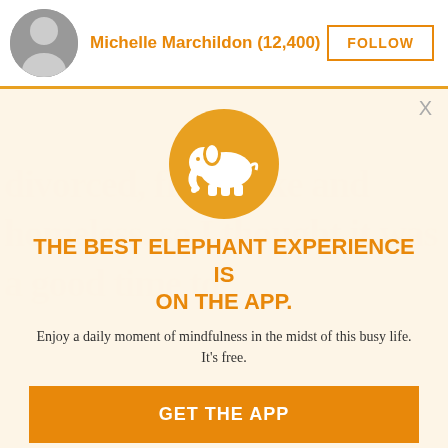Michelle Marchildon (12,400)
[Figure (illustration): Circular orange elephant logo with white elephant silhouette in center]
THE BEST ELEPHANT EXPERIENCE IS ON THE APP.
Enjoy a daily moment of mindfulness in the midst of this busy life. It's free.
GET THE APP
OPEN IN APP